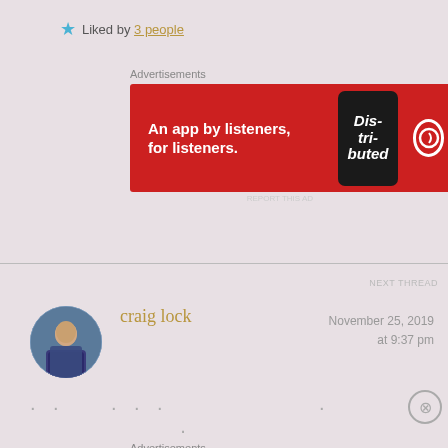★ Liked by 3 people
Advertisements
[Figure (infographic): Pocket Casts advertisement banner: red background, text 'An app by listeners, for listeners.' with a smartphone showing 'Distributed' text and Pocket Casts logo]
REPORT THIS AD
NEXT THREAD
[Figure (photo): Circular avatar photo of craig lock - person wearing dark top outdoors]
craig lock
November 25, 2019 at 9:37 pm
. . .   . . .               .               .
Advertisements
[Figure (infographic): Pressable advertisement: white background with blue top border, text 'The Platform Where WordPress Works Best' with Pressable logo]
REPORT THIS AD